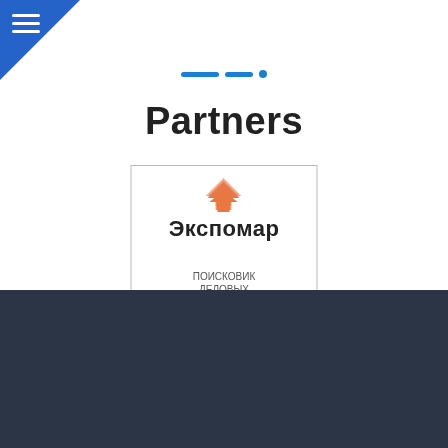[Figure (logo): Blue triangle menu icon in top-left corner with three white horizontal lines]
[Figure (illustration): Decorative blue dashes and dot divider]
Partners
[Figure (logo): Expomap partner logo with orange double-arrow icon and Cyrillic text ПОИСКОВИК ДЕЛОВЫХ]
Navigation
Home Page
Gallery
[Figure (illustration): Up arrow in a blue circle, scroll-to-top button]